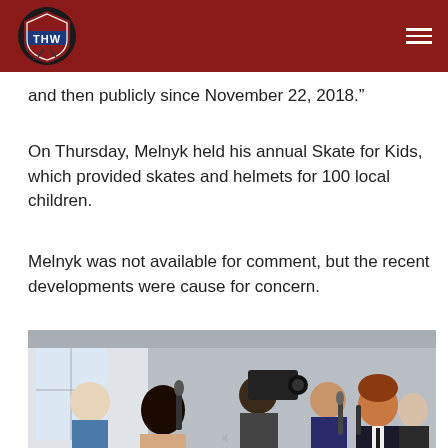THW (logo and navigation bar)
and then publicly since November 22, 2018.”
On Thursday, Melnyk held his annual Skate for Kids, which provided skates and helmets for 100 local children.
Melnyk was not available for comment, but the recent developments were cause for concern.
[Figure (photo): A press conference scene with multiple reporters holding microphones and cameras up to a man with reddish hair in a dark suit, with other people standing nearby in a hallway or room setting.]